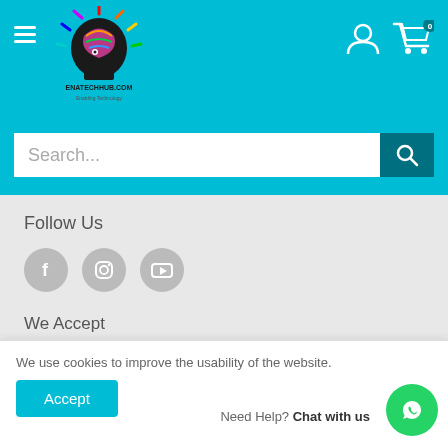[Figure (logo): EnatechHub.com logo - colorful head with lightbulb design and text ENATECHHUB.COM Enabling Technology]
Search...
Follow Us
[Figure (illustration): Three social media icons: Facebook, Instagram, YouTube - grey circles with white icons]
We Accept
[Figure (illustration): Payment method icons: AMEX, Apple Pay, generic card, Discover, Google Pay, JCB, Mastercard, Shop Pay, Visa]
We use cookies to improve the usability of the website.
Accept
Need Help? Chat with us